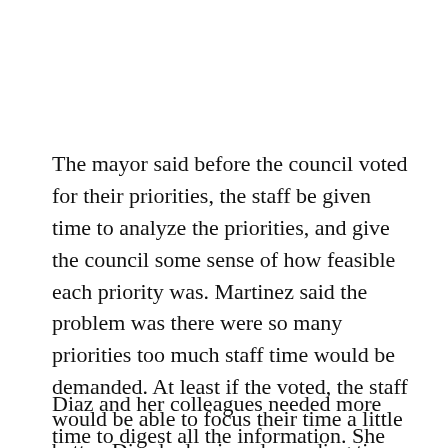The mayor said before the council voted for their priorities, the staff be given time to analyze the priorities, and give the council some sense of how feasible each priority was. Martinez said the problem was there were so many priorities too much staff time would be demanded. At least if the voted, the staff would be able to focus their time a little better. Diaz had enjoyed spending time with staff, but felt that time was also needed to be spent with her colleagues to develop what their plan should be.
Diaz and her colleagues needed more time to digest all the information. She was glad to feel that...